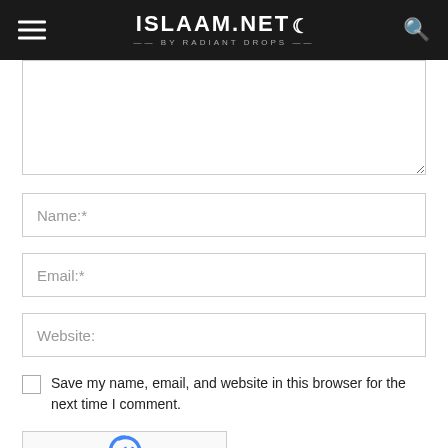ISLAAM.NET — BY RADIANT DROPS
[Figure (screenshot): Comment form with textarea (comment), Name, Email, Website input fields, a save checkbox, and a reCAPTCHA widget]
Name:*
Email:*
Website:
Save my name, email, and website in this browser for the next time I comment.